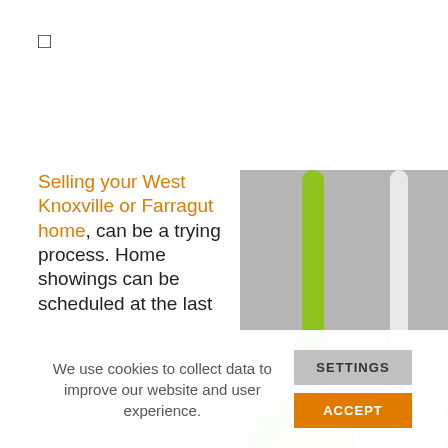□
Selling your West Knoxville or Farragut home, can be a trying process. Home showings can be scheduled at the last
[Figure (photo): Two dustpan/brush cleaning tools — one lime green and one white — photographed against a grey background. A small branded sticker is visible on the white tool.]
We use cookies to collect data to improve our website and user experience.
SETTINGS
ACCEPT